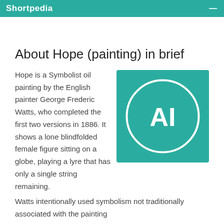Shortpedia
About Hope (painting) in brief
Hope is a Symbolist oil painting by the English painter George Frederic Watts, who completed the first two versions in 1886. It shows a lone blindfolded female figure sitting on a globe, playing a lyre that has only a single string remaining. Watts intentionally used symbolism not traditionally associated with hope, and the painting
[Figure (logo): Teal square with a white circle outline containing the letters 'AI' in white on a teal background]